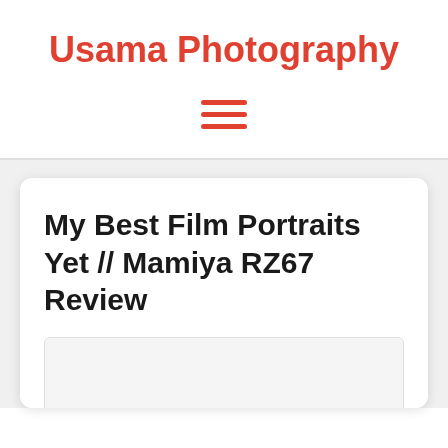Usama Photography
[Figure (other): Hamburger menu icon with three horizontal red lines]
My Best Film Portraits Yet // Mamiya RZ67 Review
[Figure (photo): Image placeholder area below article title]